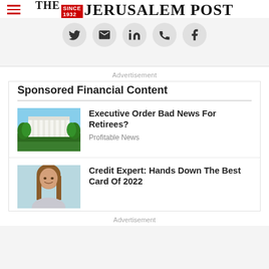THE JERUSALEM POST
[Figure (illustration): Social media sharing icons row: Twitter, Email, LinkedIn, Phone/WhatsApp, Facebook — circular grey buttons]
Advertisement
Sponsored Financial Content
[Figure (photo): Photo of the White House with trees and blue sky]
Executive Order Bad News For Retirees?
Profitable News
[Figure (photo): Photo of a smiling woman with long brown hair against a light blue background]
Credit Expert: Hands Down The Best Card Of 2022
Advertisement